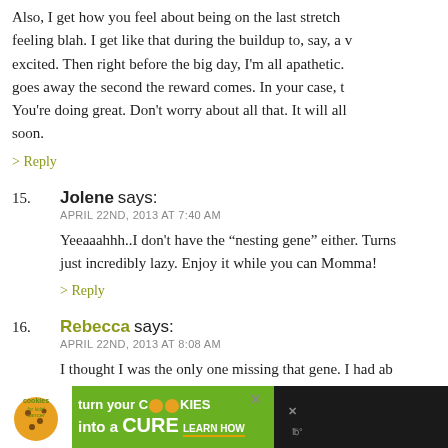Also, I get how you feel about being on the last stretch and feeling blah. I get like that during the buildup to, say, a w… excited. Then right before the big day, I'm all apathetic. goes away the second the reward comes. In your case, t… You're doing great. Don't worry about all that. It will all soon.
> Reply
15. Jolene says:
APRIL 22ND, 2013 AT 7:40 AM
Yeeaaahhh..I don't have the “nesting gene” either. Turns just incredibly lazy. Enjoy it while you can Momma!
> Reply
16. Rebecca says:
APRIL 22ND, 2013 AT 8:08 AM
I thought I was the only one missing that gene. I had ab…
[Figure (infographic): Advertisement banner for 'Cookies for Kids Cancer' — turn your COOKIES into a CURE, LEARN HOW. Dark background with green section, cookie logo, and close button.]